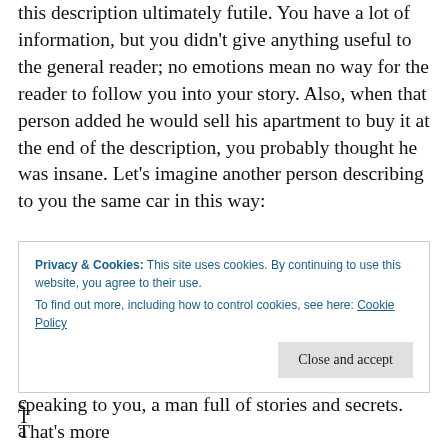this description ultimately futile. You have a lot of information, but you didn't give anything useful to the general reader; no emotions mean no way for the reader to follow you into your story. Also, when that person added he would sell his apartment to buy it at the end of the description, you probably thought he was insane. Let's imagine another person describing to you the same car in this way:
“Yesterday, an old man approached me at the market and asked me if I had ever watched La dolce vita by Federico Fellini. I’d never seen him before and found that question really odd. At any rate, I wouldn’t lose anything answering h... m... c... T... a...
Privacy & Cookies: This site uses cookies. By continuing to use this website, you agree to their use.
To find out more, including how to control cookies, see here: Cookie Policy
speaking to you, a man full of stories and secrets. That’s more